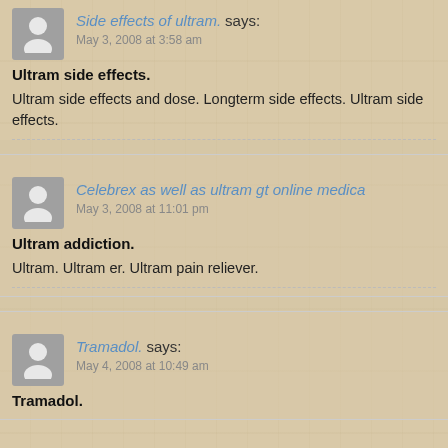Side effects of ultram. says:
May 3, 2008 at 3:58 am
Ultram side effects.
Ultram side effects and dose. Longterm side effects. Ultram side effects.
Celebrex as well as ultram gt online medica. says:
May 3, 2008 at 11:01 pm
Ultram addiction.
Ultram. Ultram er. Ultram pain reliever.
Tramadol. says:
May 4, 2008 at 10:49 am
Tramadol.